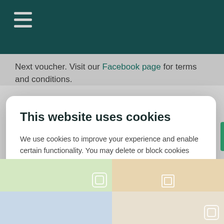Next voucher. Visit our Facebook page for terms and conditions.
This website uses cookies
We use cookies to improve your experience and enable certain functionality. You may delete or block cookies from this website, but parts of the website may not work as intended.
Show details
Allow all
[Figure (screenshot): Bottom photo grid showing home/interior product images with Instagram-style overlay icons]